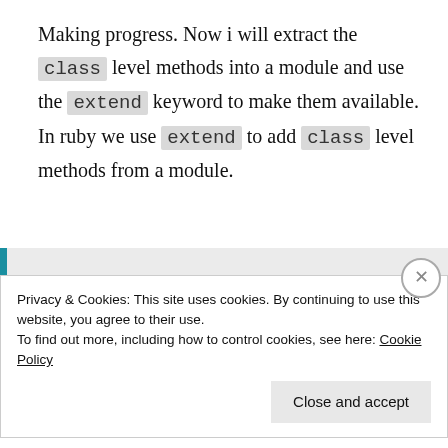Making progress. Now i will extract the class level methods into a module and use the extend keyword to make them available. In ruby we use extend to add class level methods from a module.
[Figure (screenshot): Code block showing Ruby module definition: module VehicleBehavior, def honk, puts "I like to yell at peo..."]
Privacy & Cookies: This site uses cookies. By continuing to use this website, you agree to their use.
To find out more, including how to control cookies, see here: Cookie Policy
Close and accept